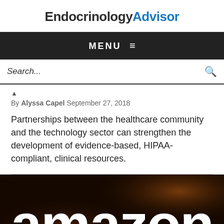EndocrinologyAdvisor
MENU ≡
Search...
▲
By Alyssa Capel September 27, 2018
Partnerships between the healthcare community and the technology sector can strengthen the development of evidence-based, HIPAA-compliant, clinical resources.
[Figure (photo): Dark photograph showing illuminated 'amazon' signage/logo in white letters on a dark background]